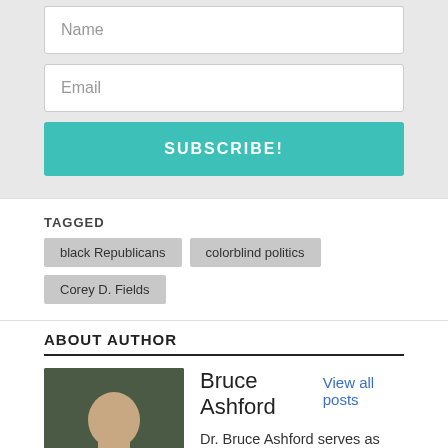Name
Email
SUBSCRIBE!
TAGGED   black Republicans   colorblind politics   Corey D. Fields
ABOUT AUTHOR
Bruce Ashford
View all posts
Dr. Bruce Ashford serves as Senior Fellow in Public Theology at the Kirby Laing Centre for Public Theology. He has published nine books,